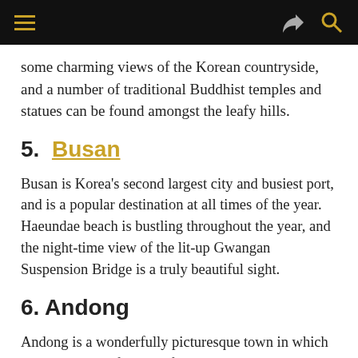navigation bar
some charming views of the Korean countryside, and a number of traditional Buddhist temples and statues can be found amongst the leafy hills.
5.  Busan
Busan is Korea’s second largest city and busiest port, and is a popular destination at all times of the year. Haeundae beach is bustling throughout the year, and the night-time view of the lit-up Gwangan Suspension Bridge is a truly beautiful sight.
6. Andong
Andong is a wonderfully picturesque town in which the traditional life style of ancient Korea lives on into